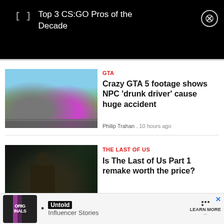[Figure (screenshot): Black banner advertisement area with bracket icon and text 'Top 3 CS:GO Pros of the Decade' with a close button]
[Figure (screenshot): GTA 5 game screenshot showing a car crash with a silver car flipping and a pink sports car]
GTA
Crazy GTA 5 footage shows NPC 'drunk driver' cause huge accident
Philip Trahan . 10 hours ago
[Figure (screenshot): The Last of Us game screenshot showing a character (Joel) in a dark forested setting]
THE LAST OF US
Is The Last of Us Part 1 remake worth the price?
Brad Norton . 10 hours ago
[Figure (screenshot): Bottom advertisement banner: Originals logo, Untold Influencer Stories, LEARN MORE button]